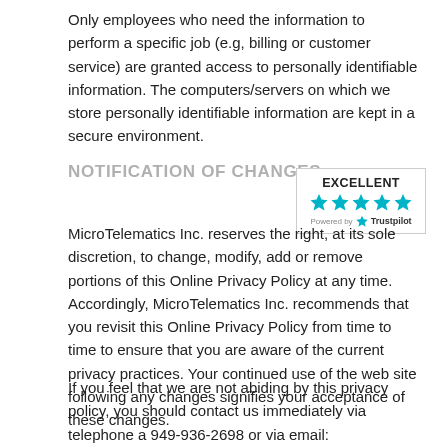Only employees who need the information to perform a specific job (e.g, billing or customer service) are granted access to personally identifiable information. The computers/servers on which we store personally identifiable information are kept in a secure environment.
NOTIFICATION OF CHANGES
[Figure (infographic): Trustpilot rating badge showing EXCELLENT with 5 teal stars and 'Powered by Trustpilot' text]
MicroTelematics Inc. reserves the right, at its sole discretion, to change, modify, add or remove portions of this Online Privacy Policy at any time. Accordingly, MicroTelematics Inc. recommends that you revisit this Online Privacy Policy from time to time to ensure that you are aware of the current privacy practices. Your continued use of the web site following any changes signifies your acceptance of these changes.
If you feel that we are not abiding by this privacy policy, you should contact us immediately via telephone a 949-936-2698 or via email: info@microtelematics.com.